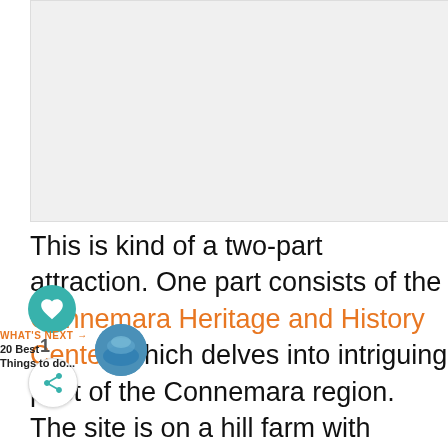[Figure (photo): Large image placeholder area at top of page, light gray background]
This is kind of a two-part attraction. One part consists of the Connemara Heritage and History Center, which delves into intriguing past of the Connemara region. The site is on a hill farm with sheep, and the famous breed of horses, Connemara ponies.